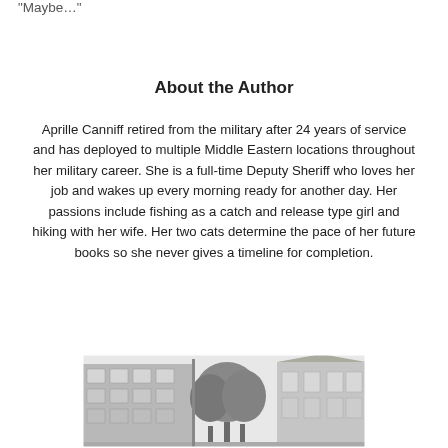“Maybe…”
About the Author
Aprille Canniff retired from the military after 24 years of service and has deployed to multiple Middle Eastern locations throughout her military career. She is a full-time Deputy Sheriff who loves her job and wakes up every morning ready for another day. Her passions include fishing as a catch and release type girl and hiking with her wife. Her two cats determine the pace of her future books so she never gives a timeline for completion.
[Figure (photo): Black and white photograph of a European street scene with buildings, trees, and architectural details visible.]